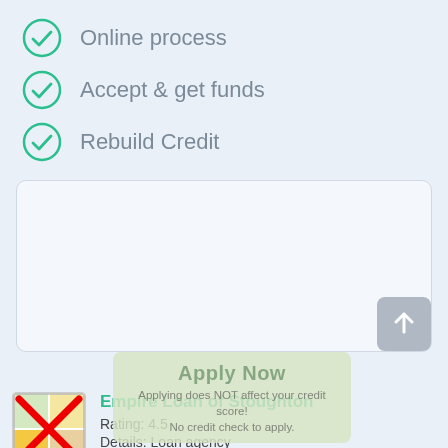Online process
Accept & get funds
Rebuild Credit
[Figure (other): Empty text input box with upload button in lower right corner]
[Figure (other): Apply Now overlay button with semi-transparent green background]
[Figure (other): Empire Loan of Stoughton listing with map icon crossed out in red X, rating 4.5, Details: Loan agency]